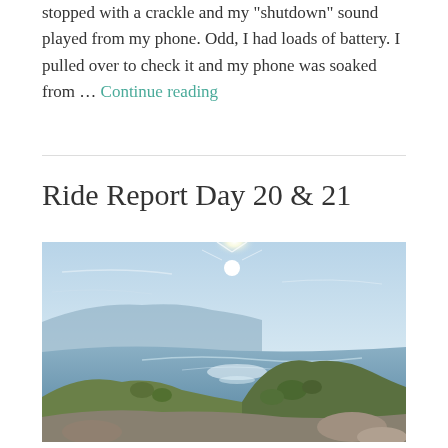stopped with a crackle and my "shutdown" sound played from my phone. Odd, I had loads of battery. I pulled over to check it and my phone was soaked from … Continue reading
Ride Report Day 20 & 21
[Figure (photo): Panoramic coastal landscape photograph showing a bay or sea inlet with rocky hills in the foreground, calm water reflecting sunlight, and coastal cliffs in the background under a bright sky with the sun visible.]